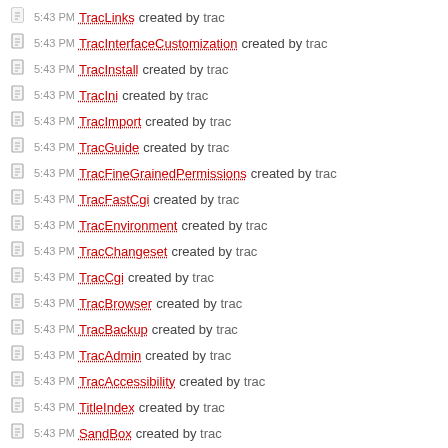5:43 PM TracLinks created by trac
5:43 PM TracInterfaceCustomization created by trac
5:43 PM TracInstall created by trac
5:43 PM TracIni created by trac
5:43 PM TracImport created by trac
5:43 PM TracGuide created by trac
5:43 PM TracFineGrainedPermissions created by trac
5:43 PM TracFastCgi created by trac
5:43 PM TracEnvironment created by trac
5:43 PM TracChangeset created by trac
5:43 PM TracCgi created by trac
5:43 PM TracBrowser created by trac
5:43 PM TracBackup created by trac
5:43 PM TracAdmin created by trac
5:43 PM TracAccessibility created by trac
5:43 PM TitleIndex created by trac
5:43 PM SandBox created by trac
5:43 PM RecentChanges created by trac
5:43 PM PageTemplates created by trac
5:43 PM InterWiki created by trac
5:43 PM InterTrac created by trac